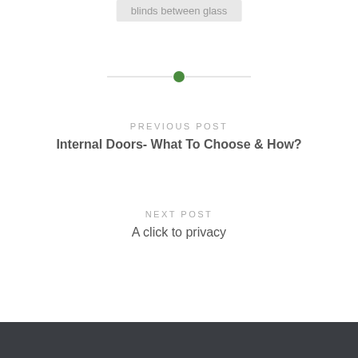blinds between glass
[Figure (infographic): Horizontal divider with a green dot in the center and grey lines on each side]
PREVIOUS POST
Internal Doors- What To Choose & How?
NEXT POST
A click to privacy